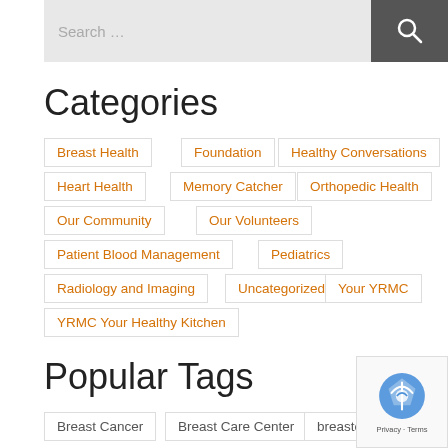Search …
Categories
Breast Health
Foundation
Healthy Conversations
Heart Health
Memory Catcher
Orthopedic Health
Our Community
Our Volunteers
Patient Blood Management
Pediatrics
Radiology and Imaging
Uncategorized
Your YRMC
YRMC Your Healthy Kitchen
Popular Tags
Breast Cancer
Breast Care Center
breastcare center